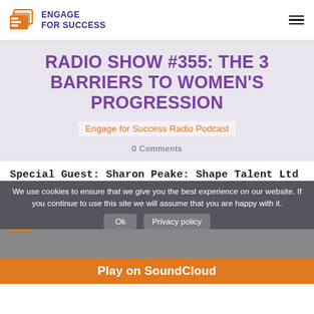[Figure (logo): Engage for Success logo with stacked pages icon and text ENGAGE FOR SUCCESS]
RADIO SHOW #355: THE 3 BARRIERS TO WOMEN'S PROGRESSION
Engage for Success Radio Podcast
0 Comments
Special Guest: Sharon Peake: Shape Talent Ltd
We use cookies to ensure that we give you the best experience on our website. If you continue to use this site we will assume that you are happy with it.
Ok   Privacy policy
Play on SoundCloud